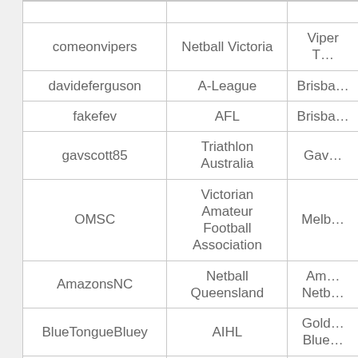| (username) | (sport/org) | (team/club) |
| --- | --- | --- |
| comeonvipers | Netball Victoria | Viper T… |
| davideferguson | A-League | Brisba… |
| fakefev | AFL | Brisba… |
| gavscott85 | Triathlon Australia | Gav… |
| OMSC | Victorian Amateur Football Association | Melb… |
| AmazonsNC | Netball Queensland | Am… Netb… |
| BlueTongueBluey | AIHL | Gold… Blue… |
| cameronwhiting | NBL | Tow… Cro… |